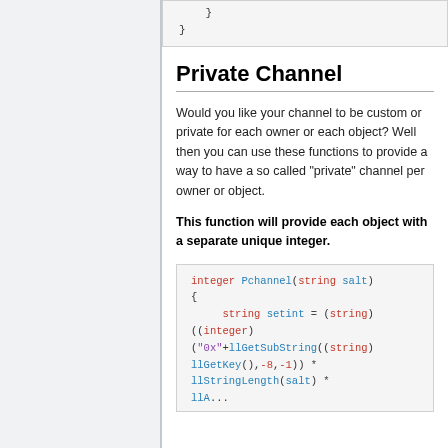}
Private Channel
Would you like your channel to be custom or private for each owner or each object? Well then you can use these functions to provide a way to have a so called "private" channel per owner or object.
This function will provide each object with a separate unique integer.
integer Pchannel(string salt)
{
    string setint = (string)((integer)("0x"+llGetSubString((string)llGetKey(),-8,-1)) *
    llStringLength(salt) *
    llAbs(llMax(